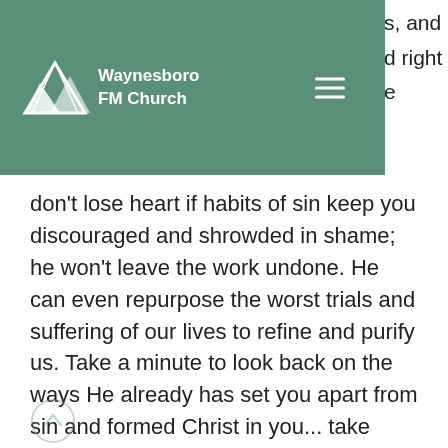Waynesboro FM Church
don't lose heart if habits of sin keep you discouraged and shrowded in shame; he won't leave the work undone. He can even repurpose the worst trials and suffering of our lives to refine and purify us. Take a minute to look back on the ways He already has set you apart from sin and formed Christ in you... take heart brother or sister. His will is to sanctify you, and he will accomplish His will. Amen. Blessings!
Christian Living